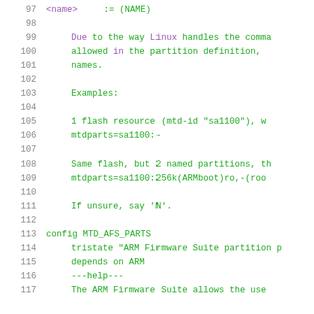97   <name>    := (NAME)
98
99   Due to the way Linux handles the comma
100  allowed in the partition definition,
101  names.
102
103  Examples:
104
105  1 flash resource (mtd-id "sa1100"), w
106  mtdparts=sa1100:-
107
108  Same flash, but 2 named partitions, th
109  mtdparts=sa1100:256k(ARMboot)ro,-(roo
110
111  If unsure, say 'N'.
112
113 config MTD_AFS_PARTS
114      tristate "ARM Firmware Suite partition p
115      depends on ARM
116      ---help---
117      The ARM Firmware Suite allows the use